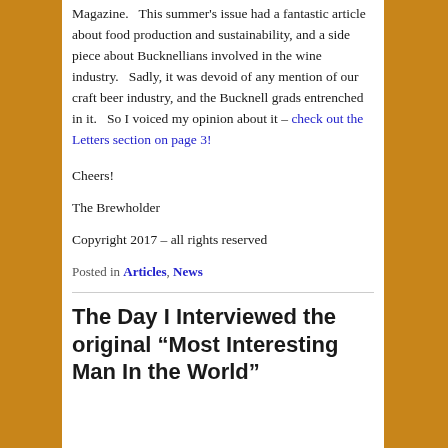Magazine.   This summer's issue had a fantastic article about food production and sustainability, and a side piece about Bucknellians involved in the wine industry.   Sadly, it was devoid of any mention of our craft beer industry, and the Bucknell grads entrenched in it.   So I voiced my opinion about it – check out the Letters section on page 3!
Cheers!
The Brewholder
Copyright 2017 – all rights reserved
Posted in Articles, News
The Day I Interviewed the original “Most Interesting Man In the World”